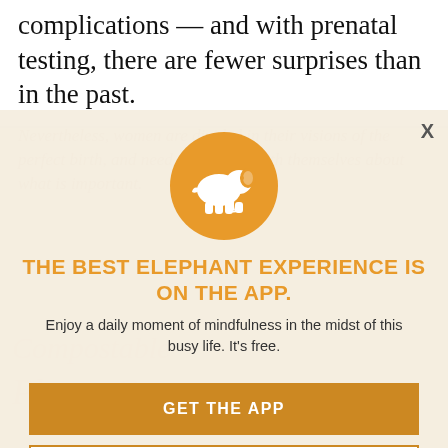complications — and with prenatal testing, there are fewer surprises than in the past.
Nevertheless, women are divided in their visions of the perfect birth, and need to be clear with themselves about what is important.
[Figure (logo): Orange circle with white elephant silhouette — Elephant Journal app logo]
THE BEST ELEPHANT EXPERIENCE IS ON THE APP.
Enjoy a daily moment of mindfulness in the midst of this busy life. It's free.
GET THE APP
OPEN IN APP